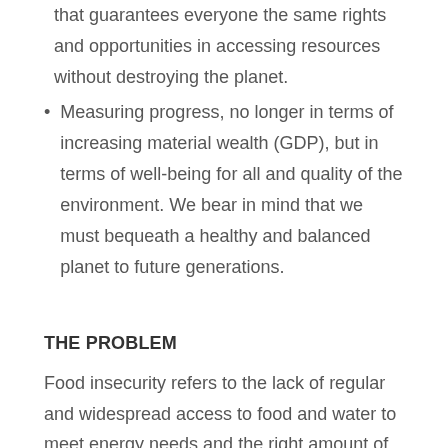that guarantees everyone the same rights and opportunities in accessing resources without destroying the planet.
Measuring progress, no longer in terms of increasing material wealth (GDP), but in terms of well-being for all and quality of the environment. We bear in mind that we must bequeath a healthy and balanced planet to future generations.
THE PROBLEM
Food insecurity refers to the lack of regular and widespread access to food and water to meet energy needs and the right amount of macronutrients (carbohydrates, lipids and proteins) and micronutrients (vitamins and minerals). Despite the progress made in West Africa in recent decades, food insecurity remains a